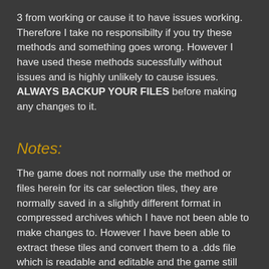3 from working or cause it to have issues working. Therefore I take no responsibilty if you try these methods and something goes wrong. However I have used these methods sucessfully without issues and is highly unlikely to cause issues. ALWAYS BACKUP YOUR FILES before making any changes to it.
Notes:
The game does not normally use the method or files herein for its car selection tiles, they are normally saved in a slightly different format in compressed archives which I have not been able to make changes to. However I have been able to extract these tiles and convert them to a .dds file which is readable and editable and the game still recognises them. I have